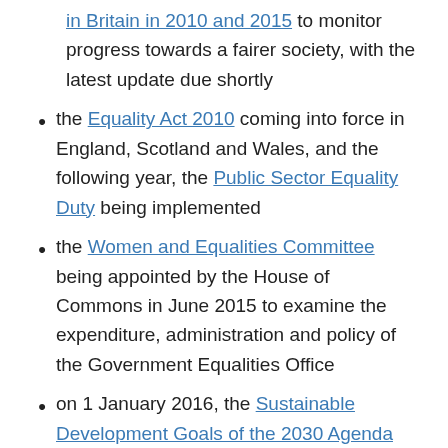in Britain in 2010 and 2015 to monitor progress towards a fairer society, with the latest update due shortly
the Equality Act 2010 coming into force in England, Scotland and Wales, and the following year, the Public Sector Equality Duty being implemented
the Women and Equalities Committee being appointed by the House of Commons in June 2015 to examine the expenditure, administration and policy of the Government Equalities Office
on 1 January 2016, the Sustainable Development Goals of the 2030 Agenda for Sustainable Development officially coming into force, based on